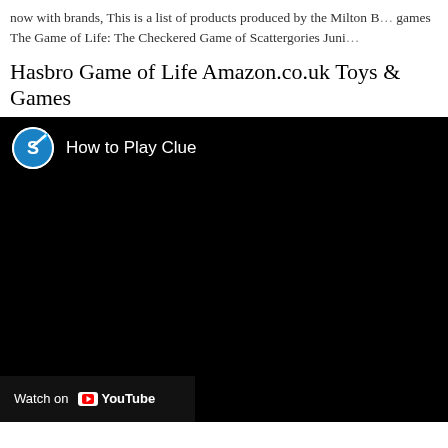now with brands, This is a list of products produced by the Milton B... games The Game of Life: The Checkered Game of Scattergories Juni...
Hasbro Game of Life Amazon.co.uk Toys & Games
[Figure (screenshot): YouTube video embed showing 'How to Play Clue' with a channel icon (blue arrow/S logo), black video area, and a 'Watch on YouTube' bar at the bottom left.]